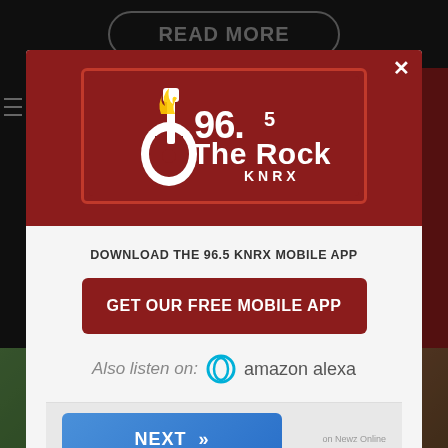READ MORE
[Figure (logo): 96.5 The Rock KNRX radio station logo — white text with guitar graphic on dark red background]
DOWNLOAD THE 96.5 KNRX MOBILE APP
GET OUR FREE MOBILE APP
Also listen on:  amazon alexa
NEXT
on Newz Online